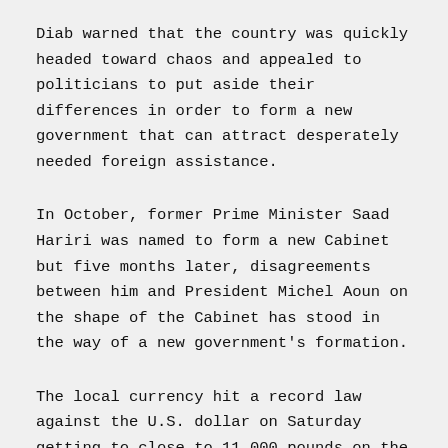Diab warned that the country was quickly headed toward chaos and appealed to politicians to put aside their differences in order to form a new government that can attract desperately needed foreign assistance.
In October, former Prime Minister Saad Hariri was named to form a new Cabinet but five months later, disagreements between him and President Michel Aoun on the shape of the Cabinet has stood in the way of a new government's formation.
The local currency hit a record law against the U.S. dollar on Saturday getting to close to 11,000 pounds on the black market.